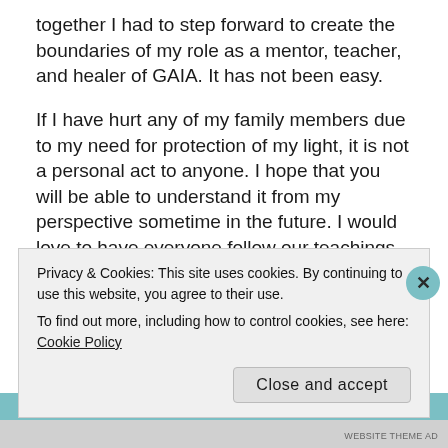together I had to step forward to create the boundaries of my role as a mentor, teacher, and healer of GAIA. It has not been easy.
If I have hurt any of my family members due to my need for protection of my light, it is not a personal act to anyone. I hope that you will be able to understand it from my perspective sometime in the future. I would love to have everyone follow our teachings of the Light, go deeper within myself, but that is not my role to push any of what I believe or live unto others. I know that every person is here to follow their own
Privacy & Cookies: This site uses cookies. By continuing to use this website, you agree to their use.
To find out more, including how to control cookies, see here: Cookie Policy
Close and accept
WEBSITE THEME AD